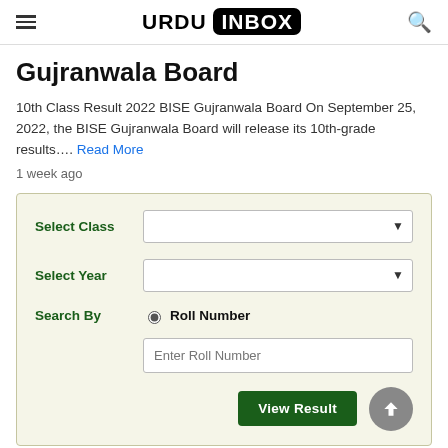URDU INBOX
Gujranwala Board
10th Class Result 2022 BISE Gujranwala Board On September 25, 2022, the BISE Gujranwala Board will release its 10th-grade results…. Read More
1 week ago
[Figure (screenshot): Form card with fields: Select Class (dropdown), Select Year (dropdown), Search By (radio: Roll Number), Enter Roll Number (text input), and View Result button.]